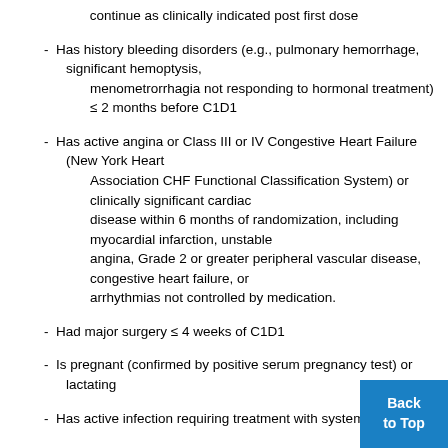continue as clinically indicated post first dose
- Has history bleeding disorders (e.g., pulmonary hemorrhage, significant hemoptysis, menometrorrhagia not responding to hormonal treatment) ≤ 2 months before C1D1
- Has active angina or Class III or IV Congestive Heart Failure (New York Heart Association CHF Functional Classification System) or clinically significant cardiac disease within 6 months of randomization, including myocardial infarction, unstable angina, Grade 2 or greater peripheral vascular disease, congestive heart failure, or arrhythmias not controlled by medication.
- Had major surgery ≤ 4 weeks of C1D1
- Is pregnant (confirmed by positive serum pregnancy test) or lactating
- Has active infection requiring treatment with systemic (i...